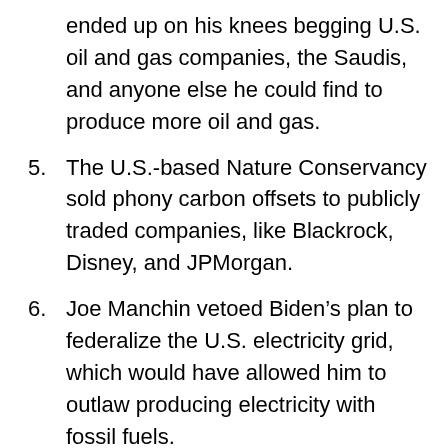(continued) ended up on his knees begging U.S. oil and gas companies, the Saudis, and anyone else he could find to produce more oil and gas.
5. The U.S.-based Nature Conservancy sold phony carbon offsets to publicly traded companies, like Blackrock, Disney, and JPMorgan.
6. Joe Manchin vetoed Biden’s plan to federalize the U.S. electricity grid, which would have allowed him to outlaw producing electricity with fossil fuels.
7. Western wildfires burned up Microsoft’s